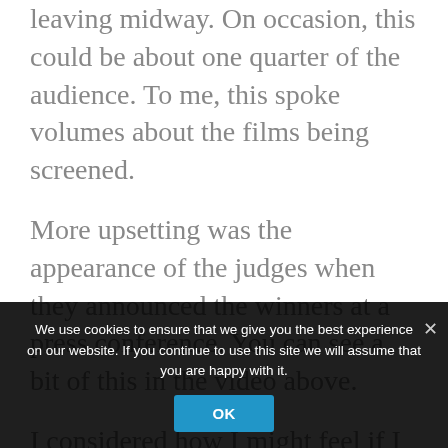short films), I witnessed audience members leaving midway. On occasion, this could be about one quarter of the audience. To me, this spoke volumes about the films being screened.
More upsetting was the appearance of the judges when they announced the winners at a press conference. You can see a bit of this in the video above.
I considered how I might feel if I were a
We use cookies to ensure that we give you the best experience on our website. If you continue to use this site we will assume that you are happy with it.